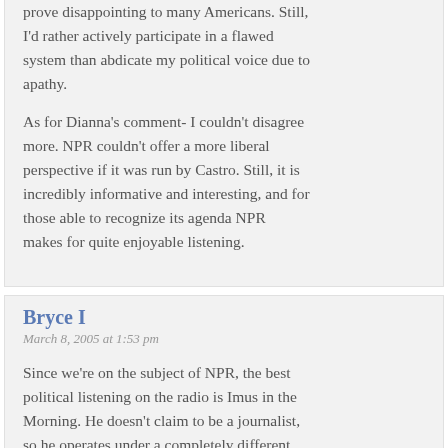prove disappointing to many Americans. Still, I'd rather actively participate in a flawed system than abdicate my political voice due to apathy.
As for Dianna's comment- I couldn't disagree more. NPR couldn't offer a more liberal perspective if it was run by Castro. Still, it is incredibly informative and interesting, and for those able to recognize its agenda NPR makes for quite enjoyable listening.
Bryce I
March 8, 2005 at 1:53 pm
Since we're on the subject of NPR, the best political listening on the radio is Imus in the Morning. He doesn't claim to be a journalist, so he operates under a completely different